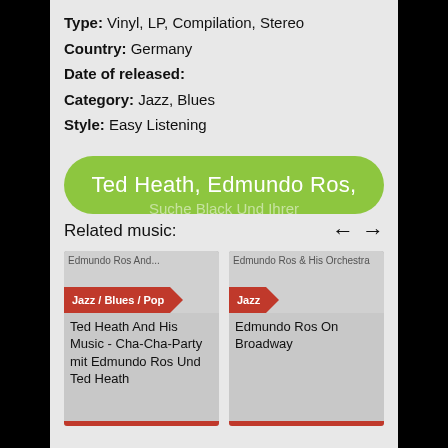Type: Vinyl, LP, Compilation, Stereo
Country: Germany
Date of released:
Category: Jazz, Blues
Style: Easy Listening
Ted Heath, Edmundo Ros,
Suche Black Und Ihrer
Related music:
Ted Heath And His Music - Cha-Cha-Party mit Edmundo Ros Und Ted Heath
Jazz / Blues / Pop
Edmundo Ros On Broadway
Jazz